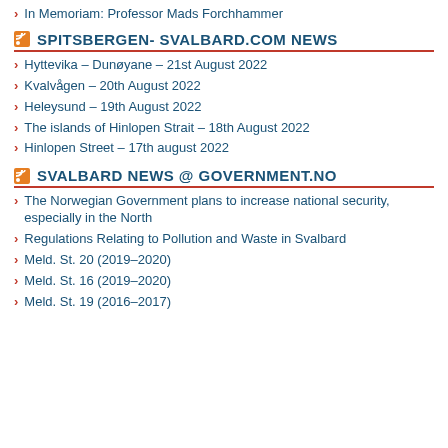In Memoriam: Professor Mads Forchhammer
SPITSBERGEN- SVALBARD.COM NEWS
Hyttevika – Dunøyane – 21st August 2022
Kvalvågen – 20th August 2022
Heleysund – 19th August 2022
The islands of Hinlopen Strait – 18th August 2022
Hinlopen Street – 17th august 2022
SVALBARD NEWS @ GOVERNMENT.NO
The Norwegian Government plans to increase national security, especially in the North
Regulations Relating to Pollution and Waste in Svalbard
Meld. St. 20 (2019–2020)
Meld. St. 16 (2019–2020)
Meld. St. 19 (2016–2017)